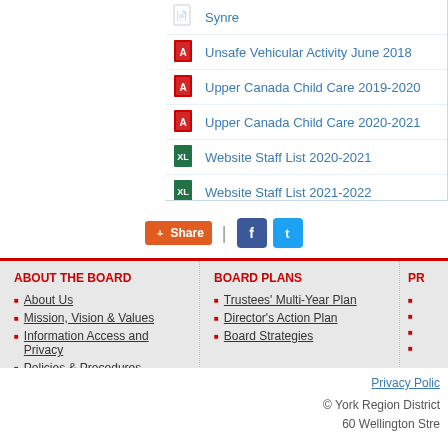Synre
Unsafe Vehicular Activity June 2018
Upper Canada Child Care 2019-2020
Upper Canada Child Care 2020-2021
Website Staff List 2020-2021
Website Staff List 2021-2022
[Figure (screenshot): Share, Facebook, and Twitter social sharing buttons]
ABOUT THE BOARD
About Us
Mission, Vision & Values
Information Access and Privacy
Policies & Procedures
BOARD PLANS
Trustees' Multi-Year Plan
Director's Action Plan
Board Strategies
PR
Privacy Polic
© York Region District
60 Wellington Stre